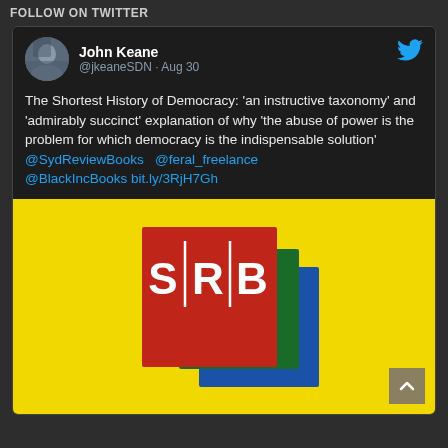FOLLOW ON TWITTER
John Keane
@jkeaneSDN · Aug 30

The Shortest History of Democracy: 'an instructive taxonomy' and 'admirably succinct' explanation of why 'the abuse of power is the problem for which democracy is the indispensable solution'
@SydReviewBooks  @feral_freelance
@BlackIncBooks bit.ly/3RjH7Gh
[Figure (logo): SRB (Sydney Review of Books) logo — red, green, and blue overlapping square book covers on a yellow background, with S|R|B text on the red square]